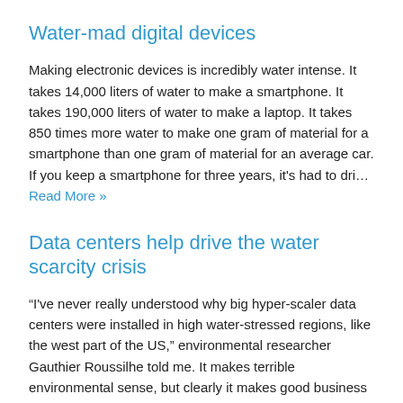Water-mad digital devices
Making electronic devices is incredibly water intense. It takes 14,000 liters of water to make a smartphone. It takes 190,000 liters of water to make a laptop. It takes 850 times more water to make one gram of material for a smartphone than one gram of material for an average car. If you keep a smartphone for three years, it's had to dri… Read More »
Data centers help drive the water scarcity crisis
“I've never really understood why big hyper-scaler data centers were installed in high water-stressed regions, like the west part of the US,” environmental researcher Gauthier Roussilhe told me. It makes terrible environmental sense, but clearly it makes good business sense. I was reminded of the business sense that data